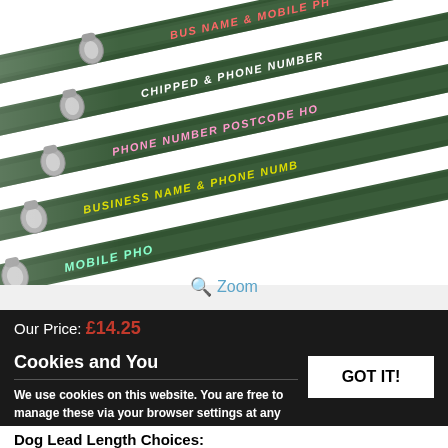[Figure (photo): Multiple dark green dog leads/leashes with metal clips arranged diagonally, each with embroidered text in different colors: 'BUS NAME & MOBILE PH' (pink/red), 'CHIPPED & PHONE NUMBER' (white), 'PHONE NUMBER POSTCODE HO' (pink), 'BUSINESS NAME & PHONE NUMB' (yellow), 'MOBILE PHO' (cyan/mint)]
Zoom
Our Price: £14.25
Cookies and You
We use cookies on this website. You are free to manage these via your browser settings at any time. For more about how we use cookies, please see our Cookie Policy.
GOT IT!
Dog Lead Length Choices: